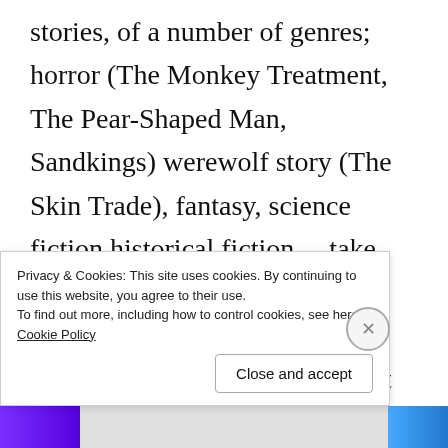stories, of a number of genres; horror (The Monkey Treatment, The Pear-Shaped Man, Sandkings) werewolf story (The Skin Trade), fantasy, science fiction historical fiction… take your pick. I'm a Martin fanboy and so I own a first edition hardcover of Dreamsongs, but it was split into two for the paperback
Privacy & Cookies: This site uses cookies. By continuing to use this website, you agree to their use.
To find out more, including how to control cookies, see here: Cookie Policy
Close and accept